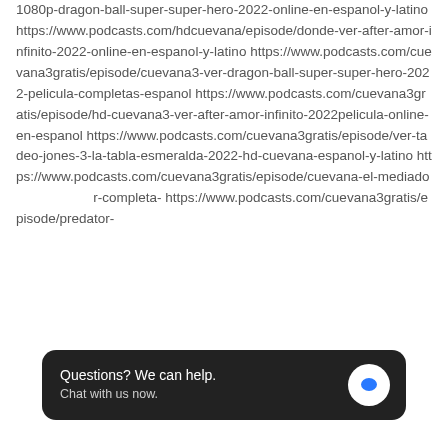1080p-dragon-ball-super-super-hero-2022-online-en-espanol-y-latino https://www.podcasts.com/hdcuevana/episode/donde-ver-after-amor-infinito-2022-online-en-espanol-y-latino https://www.podcasts.com/cuevana3gratis/episode/cuevana3-ver-dragon-ball-super-super-hero-2022-pelicula-completas-espanol https://www.podcasts.com/cuevana3gratis/episode/hd-cuevana3-ver-after-amor-infinito-2022pelicula-online-en-espanol https://www.podcasts.com/cuevana3gratis/episode/ver-tadeo-jones-3-la-tabla-esmeralda-2022-hd-cuevana-espanol-y-latino https://www.podcasts.com/cuevana3gratis/episode/cuevana-el-mediador-r-completa- https://www.podcasts.com/cuevana3gratis/episode/predator-
[Figure (other): Chat widget overlay with dark rounded rectangle background showing 'Questions? We can help. Chat with us now.' text and a white circular icon with blue speech bubble.]